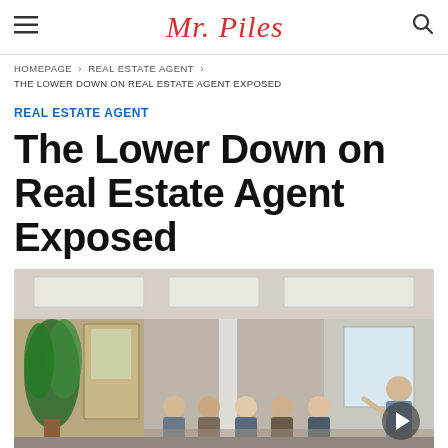Mr. Piles
HOMEPAGE > REAL ESTATE AGENT > THE LOWER DOWN ON REAL ESTATE AGENT EXPOSED
REAL ESTATE AGENT
The Lower Down on Real Estate Agent Exposed
[Figure (photo): Photo of a real estate office with people seated and a presenter speaking at the front, indoor office environment with plants and ceiling lights]